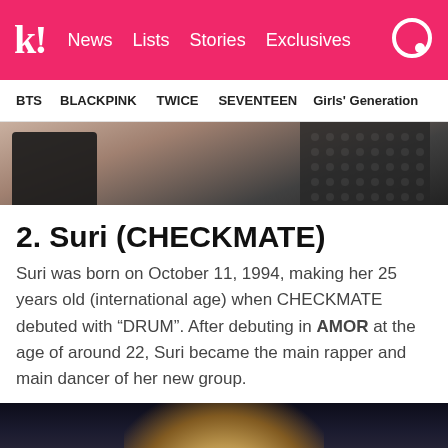k! News | Lists | Stories | Exclusives
BTS | BLACKPINK | TWICE | SEVENTEEN | Girls' Generation
[Figure (photo): Top portion of photo showing a person in a dark lace outfit against a warm background]
2. Suri (CHECKMATE)
Suri was born on October 11, 1994, making her 25 years old (international age) when CHECKMATE debuted with “DRUM”. After debuting in AMOR at the age of around 22, Suri became the main rapper and main dancer of her new group.
[Figure (photo): Bottom portion of photo showing a person with blonde hair against a dark background]